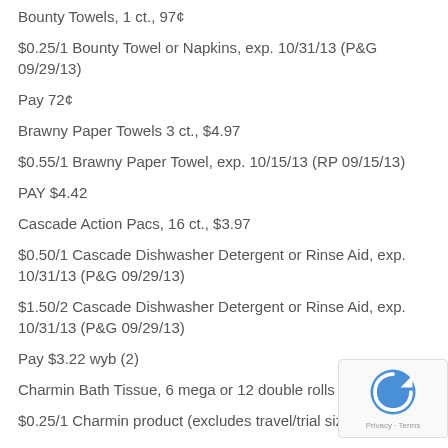Bounty Towels, 1 ct., 97¢
$0.25/1 Bounty Towel or Napkins, exp. 10/31/13 (P&G 09/29/13)
Pay 72¢
Brawny Paper Towels 3 ct., $4.97
$0.55/1 Brawny Paper Towel, exp. 10/15/13 (RP 09/15/13)
PAY $4.42
Cascade Action Pacs, 16 ct., $3.97
$0.50/1 Cascade Dishwasher Detergent or Rinse Aid, exp. 10/31/13 (P&G 09/29/13)
$1.50/2 Cascade Dishwasher Detergent or Rinse Aid, exp. 10/31/13 (P&G 09/29/13)
Pay $3.22 wyb (2)
Charmin Bath Tissue, 6 mega or 12 double rolls $6.9...
$0.25/1 Charmin product (excludes travel/trial size) exp.